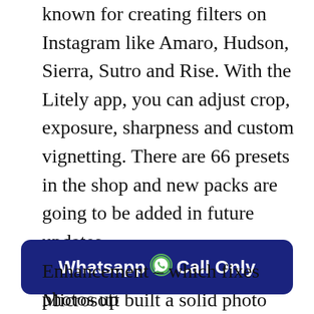known for creating filters on Instagram like Amaro, Hudson, Sierra, Sutro and Rise. With the Litely app, you can adjust crop, exposure, sharpness and custom vignetting. There are 66 presets in the shop and new packs are going to be added in future updates.
Microsoft Selfie (iOS)
Microsoft built a solid photo enhancement app for iOS called Microsoft Selfie. Microsoft Selfie considers age, gender, skin tone, lighting and several other variables to enhance your selfies. One of the best features in the Microsoft Selfie
[Figure (other): Blue rounded banner button with white bold text 'Whatsapp [WhatsApp logo icon] Call Only']
Enhancement – which fixes photos up